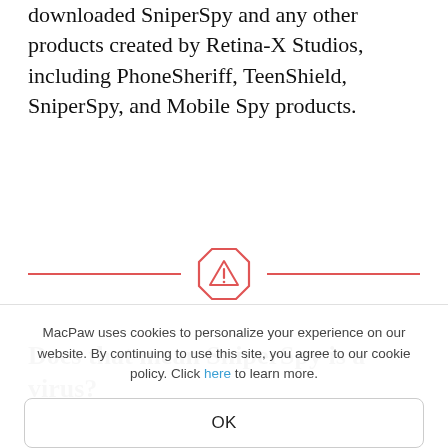downloaded SniperSpy and any other products created by Retina-X Studios, including PhoneSheriff, TeenShield, SniperSpy, and Mobile Spy products.
[Figure (other): A horizontal divider with a red octagonal warning icon (triangle with exclamation mark) in the center, flanked by red horizontal lines on each side.]
Does that mean SniperSpy is a virus?
No, however, it does mean that it has been used for illegal purposes, and therefore although it is a
MacPaw uses cookies to personalize your experience on our website. By continuing to use this site, you agree to our cookie policy. Click here to learn more.
OK